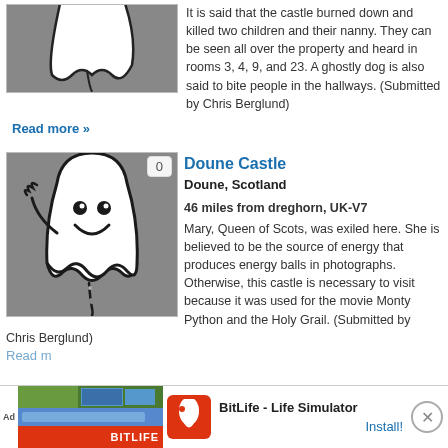[Figure (illustration): Ghost illustration on grey background (top, partially visible)]
It is said that the castle burned down and killed two children and their nanny. They can be seen all over the property and heard in rooms 3, 4, 9, and 23. A ghostly dog is also said to bite people in the hallways. (Submitted by Chris Berglund)
Read more »
[Figure (illustration): Cartoon ghost with smiley face on grey background, count badge showing 0]
Doune Castle
Doune, Scotland
46 miles from dreghorn, UK-V7
Mary, Queen of Scots, was exiled here. She is believed to be the source of energy that produces energy balls in photographs. Otherwise, this castle is necessary to visit because it was used for the movie Monty Python and the Holy Grail. (Submitted by Chris Berglund)
Read m...
[Figure (other): Advertisement banner: BitLife - Life Simulator with Install button]